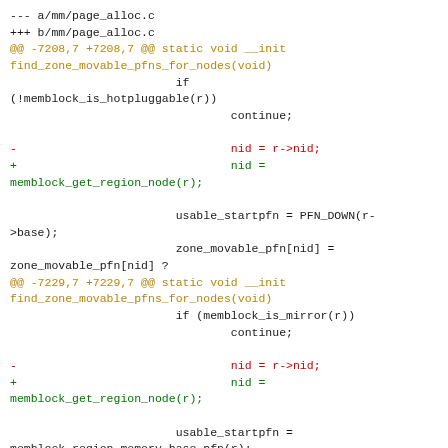--- a/mm/page_alloc.c
+++ b/mm/page_alloc.c
@@ -7208,7 +7208,7 @@ static void __init find_zone_movable_pfns_for_nodes(void)
                        if
(!memblock_is_hotpluggable(r))
                                continue;

-                               nid = r->nid;
+                               nid =
memblock_get_region_node(r);

                        usable_startpfn = PFN_DOWN(r->base);
                        zone_movable_pfn[nid] =
zone_movable_pfn[nid] ?
@@ -7229,7 +7229,7 @@ static void __init find_zone_movable_pfns_for_nodes(void)
                        if (memblock_is_mirror(r))
                                continue;

-                               nid = r->nid;
+                               nid =
memblock_get_region_node(r);

                        usable_startpfn =
memblock_region_memory_base_pfn(r);

--
2.25.1